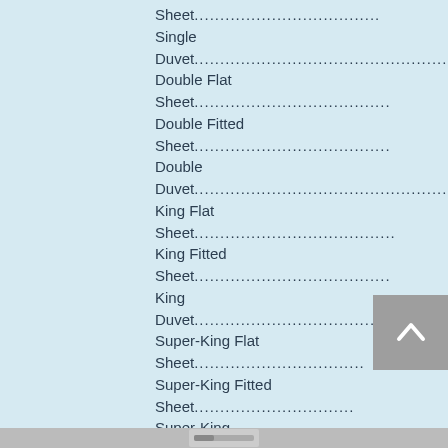Sheet....................................
Single
Duvet....................................................
Double Flat
Sheet......................................
Double Fitted
Sheet......................................
Double
Duvet....................................................
King Flat
Sheet.......................................
King Fitted
Sheet......................................
King
Duvet.........................................................
Super-King Flat
Sheet.................................
Super-King Fitted
Sheet...............................
Super-King
Duvet....................................
Emperor Flat
Sheet...